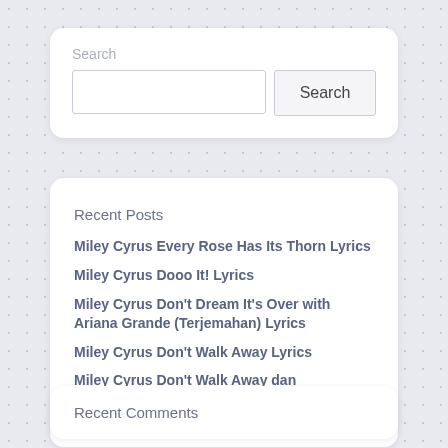Search
Search
Recent Posts
Miley Cyrus Every Rose Has Its Thorn Lyrics
Miley Cyrus Dooo It! Lyrics
Miley Cyrus Don't Dream It's Over with Ariana Grande (Terjemahan) Lyrics
Miley Cyrus Don't Walk Away Lyrics
Miley Cyrus Don't Walk Away dan Terjemahan Lyrics
Recent Comments